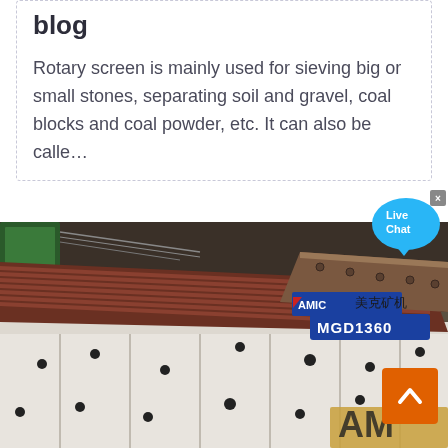blog
Rotary screen is mainly used for sieving big or small stones, separating soil and gravel, coal blocks and coal powder, etc. It can also be calle…
[Figure (photo): Close-up photo of a rotary screen / vibrating screen machine labeled 'MGD1360' with AMIC branding and Chinese characters, showing a white industrial machine body with ribbed dark metal screening surface and bolted construction.]